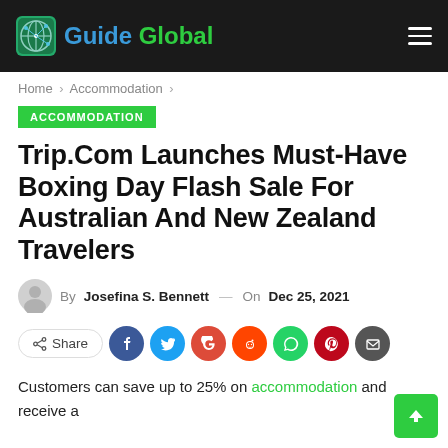Guide Global
Home > Accommodation >
ACCOMMODATION
Trip.Com Launches Must-Have Boxing Day Flash Sale For Australian And New Zealand Travelers
By Josefina S. Bennett — On Dec 25, 2021
[Figure (other): Social share buttons: Share, Facebook, Twitter, Google, Reddit, WhatsApp, Pinterest, Email]
Customers can save up to 25% on accommodation and receive a